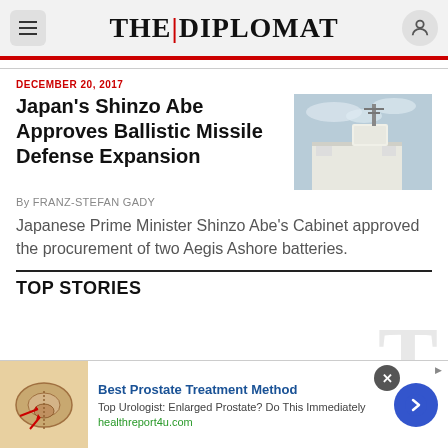THE DIPLOMAT
DECEMBER 20, 2017
Japan's Shinzo Abe Approves Ballistic Missile Defense Expansion
[Figure (photo): Aegis Ashore missile defense installation, a white boxy military structure against a cloudy sky]
By FRANZ-STEFAN GADY
Japanese Prime Minister Shinzo Abe's Cabinet approved the procurement of two Aegis Ashore batteries.
TOP STORIES
[Figure (photo): Medical illustration of prostate anatomy with red arrows]
Best Prostate Treatment Method
Top Urologist: Enlarged Prostate? Do This Immediately
healthreport4u.com